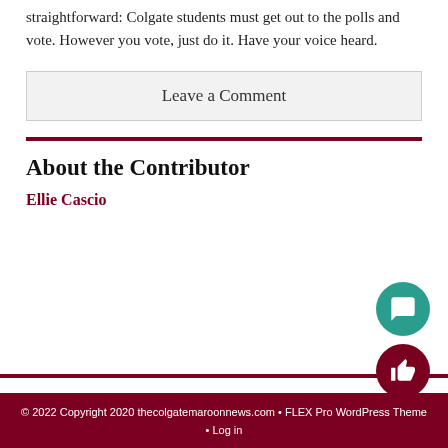straightforward: Colgate students must get out to the polls and vote. However you vote, just do it. Have your voice heard.
Leave a Comment
About the Contributor
Ellie Cascio
© 2022 Copyright 2020 thecolgatemaroonnews.com • FLEX Pro WordPress Theme • Log in